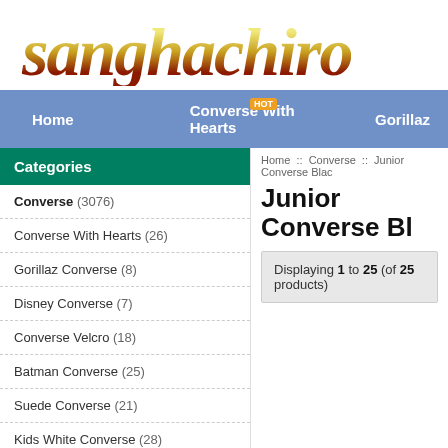[Figure (logo): sanghachiro logo in italic bold style with yellow-to-dark-red gradient]
Home   Converse With Hearts   Gorillaz
Home :: Converse :: Junior Converse Bl...
Junior Converse Bl...
Displaying 1 to 25 (of 25 products)
Categories
Converse (3076)
Converse With Hearts (26)
Gorillaz Converse (8)
Disney Converse (7)
Converse Velcro (18)
Batman Converse (25)
Suede Converse (21)
Kids White Converse (28)